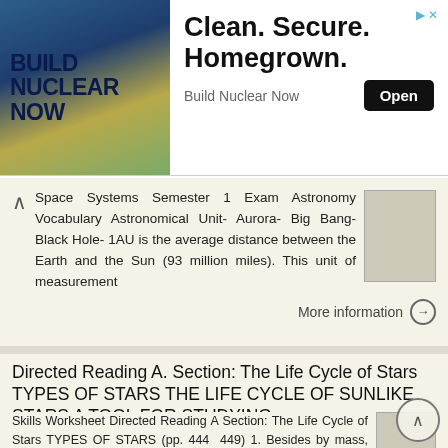[Figure (infographic): Advertisement banner for 'Build Nuclear Now' with teal/gold background and text 'BUILD NUCLEAR NOW'. Headline reads 'Clean. Secure. Homegrown.' with an 'Open' button. Tagline: 'Build Nuclear Now']
Space Systems Semester 1 Exam Astronomy Vocabulary Astronomical Unit- Aurora- Big Bang- Black Hole- 1AU is the average distance between the Earth and the Sun (93 million miles). This unit of measurement
More information →
Directed Reading A. Section: The Life Cycle of Stars TYPES OF STARS THE LIFE CYCLE OF SUNLIKE STARS A TOOL FOR STUDYING
Skills Worksheet Directed Reading A Section: The Life Cycle of Stars TYPES OF STARS (pp. 444 449) 1. Besides by mass, size, brightness, color, temperature, and composition, how are stars classified? a.